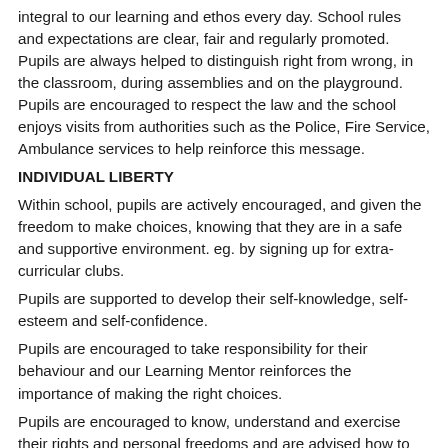integral to our learning and ethos every day. School rules and expectations are clear, fair and regularly promoted. Pupils are always helped to distinguish right from wrong, in the classroom, during assemblies and on the playground. Pupils are encouraged to respect the law and the school enjoys visits from authorities such as the Police, Fire Service, Ambulance services to help reinforce this message.
INDIVIDUAL LIBERTY
Within school, pupils are actively encouraged, and given the freedom to make choices, knowing that they are in a safe and supportive environment. eg. by signing up for extra-curricular clubs.
Pupils are supported to develop their self-knowledge, self-esteem and self-confidence.
Pupils are encouraged to take responsibility for their behaviour and our Learning Mentor reinforces the importance of making the right choices.
Pupils are encouraged to know, understand and exercise their rights and personal freedoms and are advised how to exercise these safely, for example through our e-safety teaching and